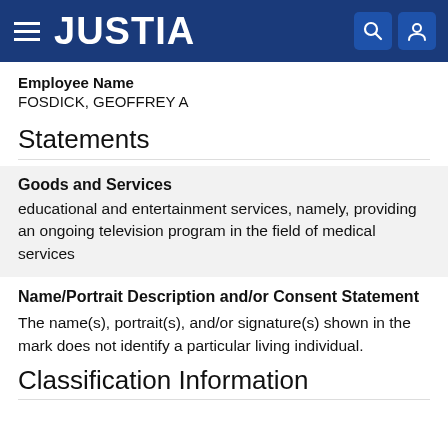JUSTIA
Employee Name
FOSDICK, GEOFFREY A
Statements
Goods and Services
educational and entertainment services, namely, providing an ongoing television program in the field of medical services
Name/Portrait Description and/or Consent Statement
The name(s), portrait(s), and/or signature(s) shown in the mark does not identify a particular living individual.
Classification Information